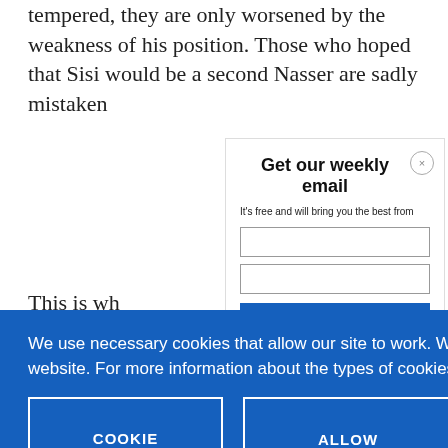tempered, they are only worsened by the weakness of his position. Those who hoped that Sisi would be a second Nasser are sadly mistaken
This is wh
Get our weekly email
It's free and will bring you the best from
We use necessary cookies that allow our site to work. We also set optional cookies that help us improve our website. For more information about the types of cookies we use. READ OUR COOKIES POLICY HERE
COOKIE SETTINGS
ALLOW ALL COOKIES
data.